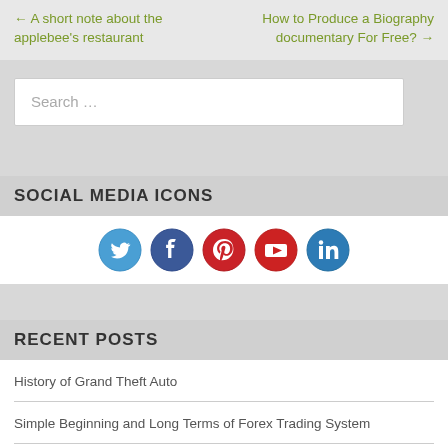← A short note about the applebee's restaurant
How to Produce a Biography documentary For Free? →
Search …
SOCIAL MEDIA ICONS
[Figure (illustration): Five social media icons: Twitter (blue bird), Facebook (blue f), Pinterest (red P), YouTube (red play), LinkedIn (blue in)]
RECENT POSTS
History of Grand Theft Auto
Simple Beginning and Long Terms of Forex Trading System